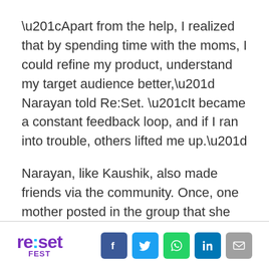“Apart from the help, I realized that by spending time with the moms, I could refine my product, understand my target audience better,” Narayan told Re:Set. “It became a constant feedback loop, and if I ran into trouble, others lifted me up.”
Narayan, like Kaushik, also made friends via the community. Once, one mother posted in the group that she made 100 pancakes for her kids’ class, and thanked Slurrp Farm for their millet-based products. Narayan then called her, and
[Figure (logo): Re:Set Fest logo with purple and cyan coloring]